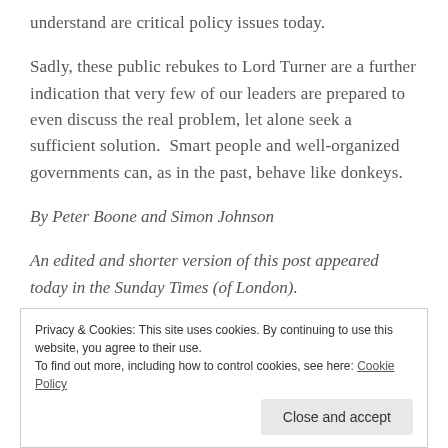understand are critical policy issues today.
Sadly, these public rebukes to Lord Turner are a further indication that very few of our leaders are prepared to even discuss the real problem, let alone seek a sufficient solution.  Smart people and well-organized governments can, as in the past, behave like donkeys.
By Peter Boone and Simon Johnson
An edited and shorter version of this post appeared today in the Sunday Times (of London).
Privacy & Cookies: This site uses cookies. By continuing to use this website, you agree to their use.
To find out more, including how to control cookies, see here: Cookie Policy